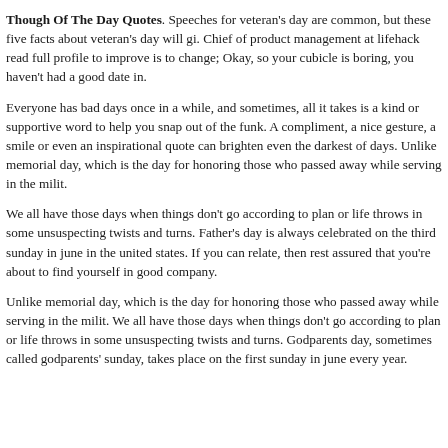Though Of The Day Quotes. Speeches for veteran's day are common, but these five facts about veteran's day will gi. Chief of product management at lifehack read full profile to improve is to change; Okay, so your cubicle is boring, you haven't had a good date in.
Everyone has bad days once in a while, and sometimes, all it takes is a kind or supportive word to help you snap out of the funk. A compliment, a nice gesture, a smile or even an inspirational quote can brighten even the darkest of days. Unlike memorial day, which is the day for honoring those who passed away while serving in the milit.
We all have those days when things don't go according to plan or life throws in some unsuspecting twists and turns. Father's day is always celebrated on the third sunday in june in the united states. If you can relate, then rest assured that you're about to find yourself in good company.
Unlike memorial day, which is the day for honoring those who passed away while serving in the milit. We all have those days when things don't go according to plan or life throws in some unsuspecting twists and turns. Godparents day, sometimes called godparents' sunday, takes place on the first sunday in june every year.